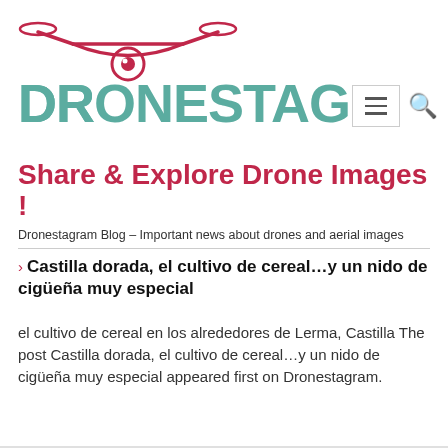[Figure (logo): Dronestagram logo with drone icon above teal DRONESTAGRAM text with a red stylized 'O' containing an eye/camera lens]
Share & Explore Drone Images !
Dronestagram Blog – Important news about drones and aerial images
Castilla dorada, el cultivo de cereal…y un nido de cigüeña muy especial
el cultivo de cereal en los alrededores de Lerma, Castilla The post Castilla dorada, el cultivo de cereal…y un nido de cigüeña muy especial appeared first on Dronestagram.